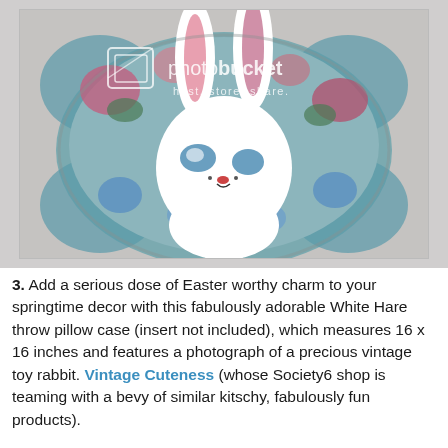[Figure (photo): A decorative throw pillow featuring a photograph of a vintage white toy rabbit (Easter bunny) with blue cheeks and pink-tipped ears, set against a colorful floral background. The pillow is displayed against a light gray background. A Photobucket watermark reading 'photobucket host. store. share.' is overlaid on the image.]
3. Add a serious dose of Easter worthy charm to your springtime decor with this fabulously adorable White Hare throw pillow case (insert not included), which measures 16 x 16 inches and features a photograph of a precious vintage toy rabbit. Vintage Cuteness (whose Society6 shop is teaming with a bevy of similar kitschy, fabulously fun products).